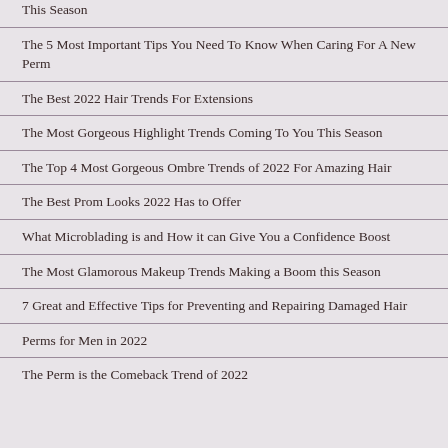This Season
The 5 Most Important Tips You Need To Know When Caring For A New Perm
The Best 2022 Hair Trends For Extensions
The Most Gorgeous Highlight Trends Coming To You This Season
The Top 4 Most Gorgeous Ombre Trends of 2022 For Amazing Hair
The Best Prom Looks 2022 Has to Offer
What Microblading is and How it can Give You a Confidence Boost
The Most Glamorous Makeup Trends Making a Boom this Season
7 Great and Effective Tips for Preventing and Repairing Damaged Hair
Perms for Men in 2022
The Perm is the Comeback Trend of 2022